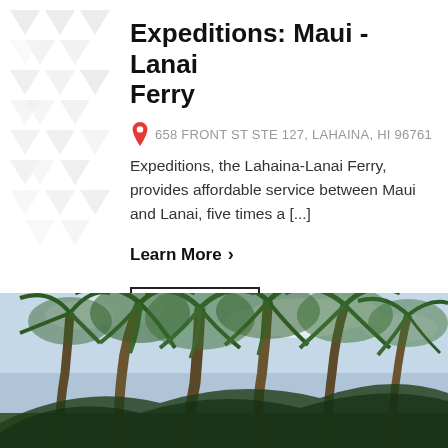[Figure (illustration): Decorative geometric triangle pattern in grey on top-left background]
Expeditions: Maui - Lanai Ferry
658 FRONT ST STE 127, LAHAINA, HI 96761
Expeditions, the Lahaina-Lanai Ferry, provides affordable service between Maui and Lanai, five times a [...]
Learn More ›
WEBSITE ›
[Figure (photo): Photograph of tall palm trees against a partly cloudy blue sky, taken from below looking upward]